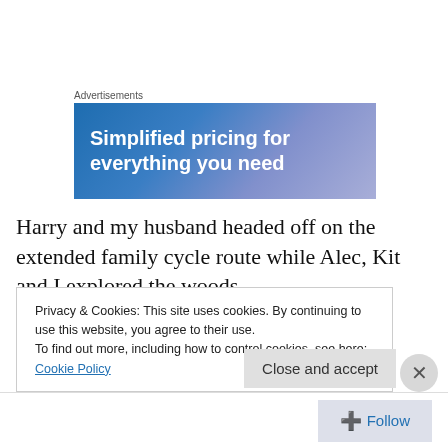Advertisements
[Figure (illustration): Advertisement banner with blue-purple gradient background and white bold text reading 'Simplified pricing for everything you need']
Harry and my husband headed off on the extended family cycle route while Alec, Kit and I explored the woods.
It goes without saying that once we'd abandoned the day's goal, everyone had a much better time – even me. I
Privacy & Cookies: This site uses cookies. By continuing to use this website, you agree to their use.
To find out more, including how to control cookies, see here: Cookie Policy